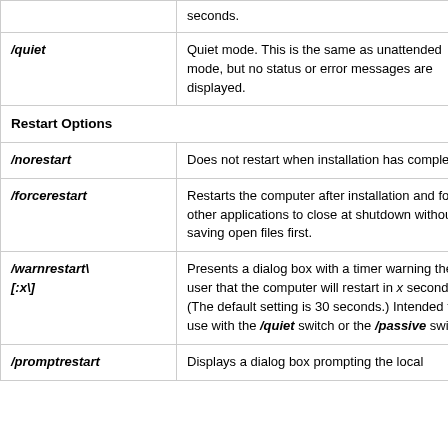| Switch | Description |
| --- | --- |
| (continued) | seconds. |
| **/quiet** | Quiet mode. This is the same as unattended mode, but no status or error messages are displayed. |
| Restart Options |  |
| **/norestart** | Does not restart when installation has completed |
| **/forcerestart** | Restarts the computer after installation and force other applications to close at shutdown without saving open files first. |
| **/warnrestart\
[:x\]** | Presents a dialog box with a timer warning the user that the computer will restart in *x* seconds. (The default setting is 30 seconds.) Intended for use with the **/quiet** switch or the **/passive** switch. |
| **/promptrestart** | Displays a dialog box prompting the local |